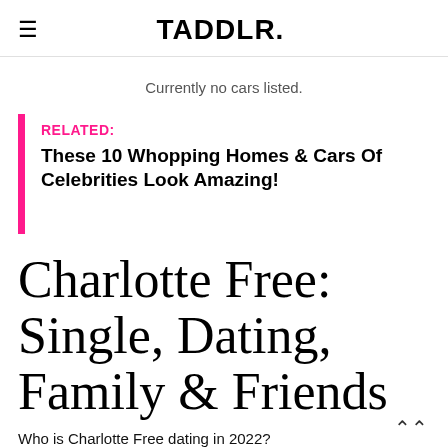≡  TADDLR.
Currently no cars listed.
RELATED:
These 10 Whopping Homes & Cars Of Celebrities Look Amazing!
Charlotte Free: Single, Dating, Family & Friends
Who is Charlotte Free dating in 2022?